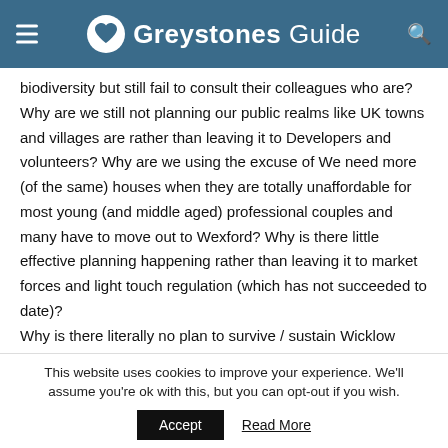Greystones Guide
biodiversity but still fail to consult their colleagues who are? Why are we still not planning our public realms like UK towns and villages are rather than leaving it to Developers and volunteers? Why are we using the excuse of We need more (of the same) houses when they are totally unaffordable for most young (and middle aged) professional couples and many have to move out to Wexford? Why is there little effective planning happening rather than leaving it to market forces and light touch regulation (which has not succeeded to date)?
Why is there literally no plan to survive / sustain Wicklow County and its liveability & Community wellbeing for more than 6 years
This website uses cookies to improve your experience. We'll assume you're ok with this, but you can opt-out if you wish.
Accept  Read More